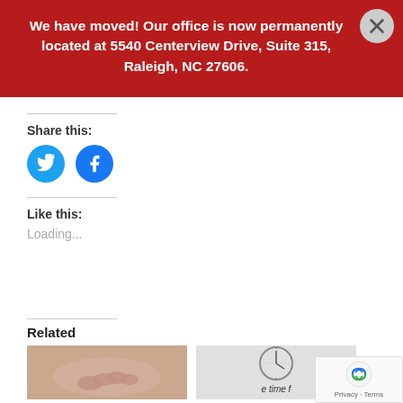We have moved! Our office is now permanently located at 5540 Centerview Drive, Suite 315, Raleigh, NC 27606.
Share this:
[Figure (illustration): Twitter and Facebook social sharing circular icon buttons]
Like this:
Loading...
Related
[Figure (photo): Two thumbnail images for related posts, including a hand image and a clock with text 'time']
[Figure (other): reCAPTCHA widget overlay in the bottom-right corner showing Privacy and Terms]